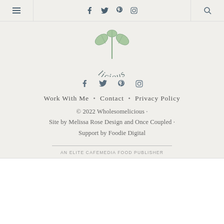Navigation bar with hamburger menu, social icons (Facebook, Twitter, Pinterest, Instagram), and search icon
[Figure (logo): Wholesomelicious logo with leaves and fork illustration, text 'licious' in arc below]
[Figure (infographic): Social media icons: Facebook, Twitter, Pinterest, Instagram]
Work With Me · Contact · Privacy Policy
© 2022 Wholesomelicious · Site by Melissa Rose Design and Once Coupled · Support by Foodie Digital
AN ELITE CAFEMEDIA FOOD PUBLISHER